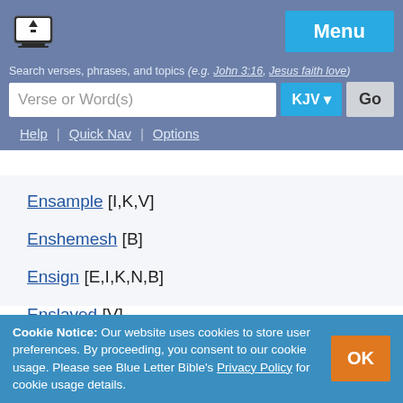[Figure (logo): Blue Letter Bible logo - laptop with book icon]
Search verses, phrases, and topics (e.g. John 3:16, Jesus faith love)
Verse or Word(s) [search input] KJV Go
Help | Quick Nav | Options
Ensample [I,K,V]
Enshemesh [B]
Ensign [E,I,K,N,B]
Enslaved [V]
Cookie Notice: Our website uses cookies to store user preferences. By proceeding, you consent to our cookie usage. Please see Blue Letter Bible's Privacy Policy for cookie usage details.